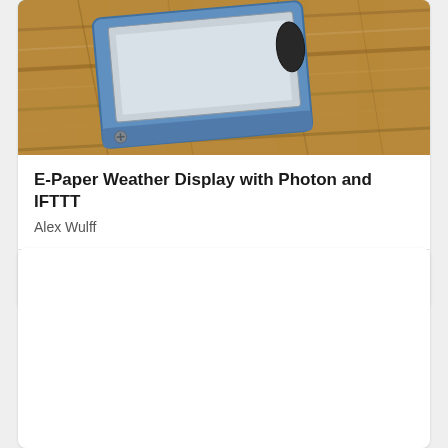[Figure (photo): Photo of an e-paper display device (blue and grey enclosure) resting on a wooden surface with visible wood grain texture]
E-Paper Weather Display with Photon and IFTTT
Alex Wulff
61 likes, 16K views